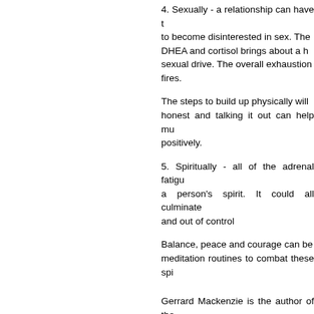4. Sexually - a relationship can have to become disinterested in sex. The DHEA and cortisol brings about a h sexual drive. The overall exhaustion fires.
The steps to build up physically will honest and talking it out can help mu positively.
5. Spiritually - all of the adrenal fatigu a person's spirit. It could all culminate and out of control
Balance, peace and courage can be meditation routines to combat these spi
Gerrard Mackenzie is the author of the Sleep Report which taught thousands how to overcome their sleeping difficul blogs over at Supercharge Your sleep B
Article Source: http://EzineArticles.com
0 Comments